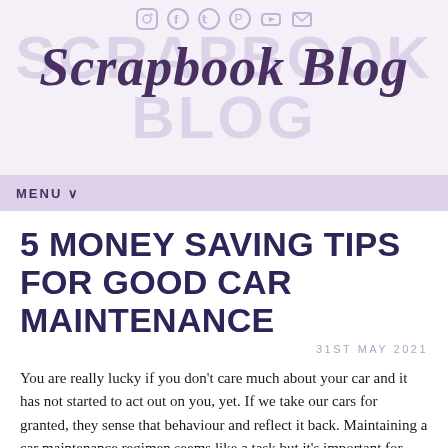[Figure (logo): Scrapbook Blog logo with large light purple background block letters 'SCRAPBOOK BLOG' and cursive dark purple script 'Scrapbook Blog' overlaid, with social media icons (Instagram, Facebook, Twitter, Pinterest, YouTube, Email) above]
MENU ∨
5 MONEY SAVING TIPS FOR GOOD CAR MAINTENANCE
31ST MAY 2021
You are really lucky if you don't care much about your car and it has not started to act out on you, yet. If we take our cars for granted, they sense that behaviour and reflect it back. Maintaining a car maintenance regimen seems like a task but it's important for your long-term care of your car.